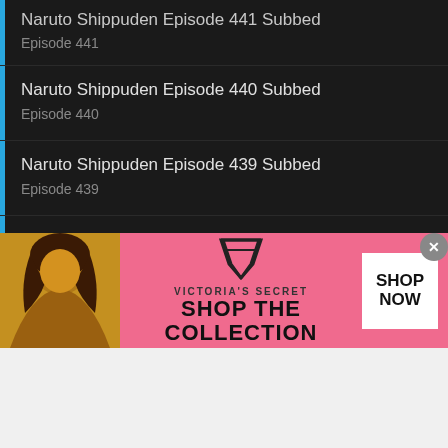Naruto Shippuden Episode 441 Subbed
Episode 441
Naruto Shippuden Episode 440 Subbed
Episode 440
Naruto Shippuden Episode 439 Subbed
Episode 439
Naruto Shippuden Episode 438 Subbed
Episode 438
Naruto Shippuden Episode 437 Subbed
Episode 437
Naruto Shippuden Episode 436 Subbed
Episode 436
[Figure (screenshot): Victoria's Secret advertisement banner with pink background, woman photo, VS logo, 'SHOP THE COLLECTION' text, and 'SHOP NOW' button]